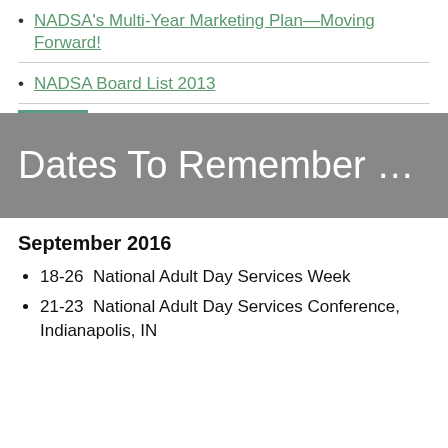NADSA's Multi-Year Marketing Plan—Moving Forward!
NADSA Board List 2013
Dates To Remember …
September 2016
18-26  National Adult Day Services Week
21-23  National Adult Day Services Conference, Indianapolis, IN